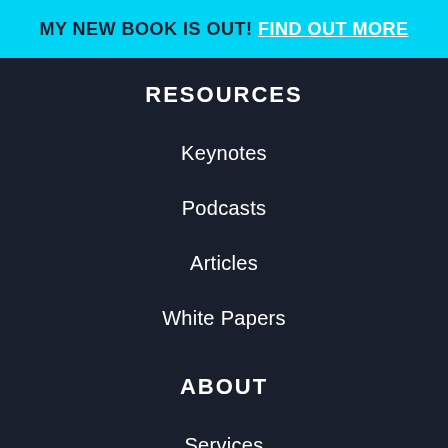MY NEW BOOK IS OUT! FIND OUT MORE
RESOURCES
Keynotes
Podcasts
Articles
White Papers
ABOUT
Services
About